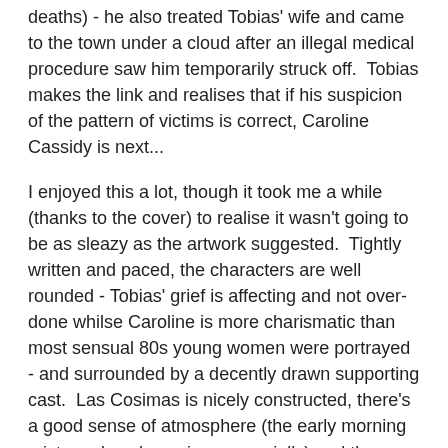deaths) - he also treated Tobias' wife and came to the town under a cloud after an illegal medical procedure saw him temporarily struck off.  Tobias makes the link and realises that if his suspicion of the pattern of victims is correct, Caroline Cassidy is next...
I enjoyed this a lot, though it took me a while (thanks to the cover) to realise it wasn't going to be as sleazy as the artwork suggested.  Tightly written and paced, the characters are well rounded - Tobias' grief is affecting and not over-done whilse Caroline is more charismatic than most sensual 80s young women were portrayed - and surrounded by a decently drawn supporting cast.  Las Cosimas is nicely constructed, there's a good sense of atmosphere (the early morning mists and cool evenings especially) and the climax, which takes place during the Fourth Of July fireworks display and the light/dark conditions that allows, is gripping and brisk.  The band of red herrings aren't overdone, the authority figures - especially the town Sheriff who is clearly out of his league - have more depth than normal and as the noose tightens and Tobias tries to save Caroline the last few pages fly by.  As ever, your enjoyment will depend on your